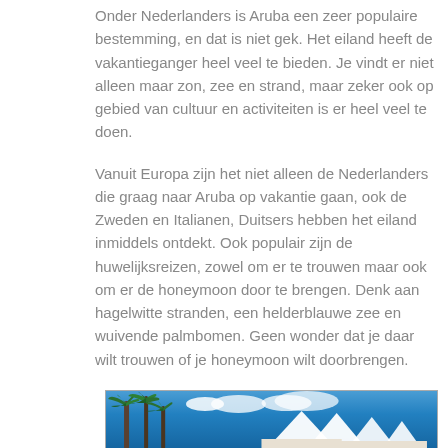Onder Nederlanders is Aruba een zeer populaire bestemming, en dat is niet gek. Het eiland heeft de vakantieganger heel veel te bieden. Je vindt er niet alleen maar zon, zee en strand, maar zeker ook op gebied van cultuur en activiteiten is er heel veel te doen.
Vanuit Europa zijn het niet alleen de Nederlanders die graag naar Aruba op vakantie gaan, ook de Zweden en Italianen, Duitsers hebben het eiland inmiddels ontdekt. Ook populair zijn de huwelijksreizen, zowel om er te trouwen maar ook om er de honeymoon door te brengen. Denk aan hagelwitte stranden, een helderblauwe zee en wuivende palmbomen. Geen wonder dat je daar wilt trouwen of je honeymoon wilt doorbrengen.
[Figure (photo): Photo of Aruba beach scene with palm trees, white tent/sail structures, and bright blue sky with clouds]